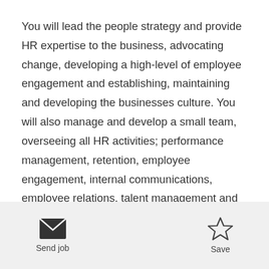You will lead the people strategy and provide HR expertise to the business, advocating change, developing a high-level of employee engagement and establishing, maintaining and developing the businesses culture. You will also manage and develop a small team, overseeing all HR activities; performance management, retention, employee engagement, internal communications, employee relations, talent management and all people focused project / initiatives - as well as managing all associated budgets.
[Figure (other): Send job button with envelope icon and Save button with star icon in a footer toolbar]